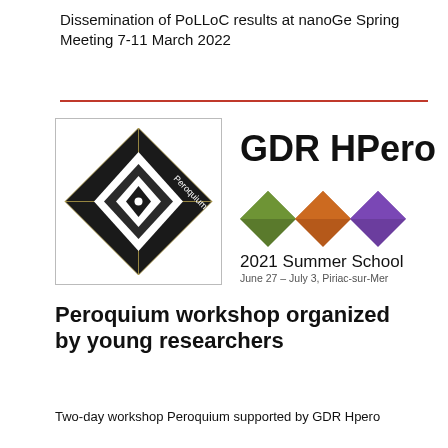Dissemination of PoLLoC results at nanoGe Spring Meeting 7-11 March 2022
[Figure (logo): Peroquium logo: dark geometric diamond shape with nested squares and 'Peroquium' text, inside a rectangular border]
[Figure (logo): GDR HPero 2021 Summer School logo with three colored diamond shapes (green, orange, purple) and text 'June 27 – July 3, Piriac-sur-Mer']
Peroquium workshop organized by young researchers
Two-day workshop Peroquium supported by GDR Hpero